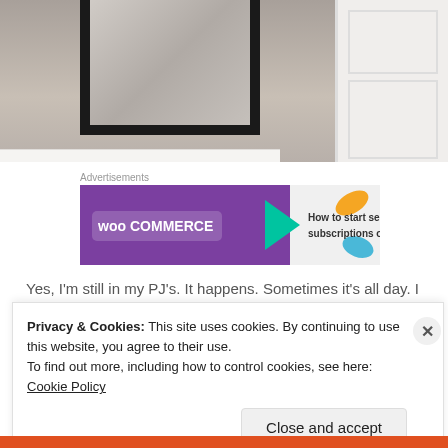[Figure (photo): Photo of a black-framed mirror leaning against a wall next to a white door, on beige carpet. Reflected in the mirror is the carpet and ceiling. White baseboard visible along the wall.]
Advertisements
[Figure (other): WooCommerce advertisement banner: purple background with WooCommerce logo on left, teal arrow pointing right, text 'How to start selling subscriptions online', orange and blue leaf shapes on right.]
Yes, I'm still in my PJ's. It happens. Sometimes it's all day. I make no
Privacy & Cookies: This site uses cookies. By continuing to use this website, you agree to their use.
To find out more, including how to control cookies, see here: Cookie Policy
Close and accept